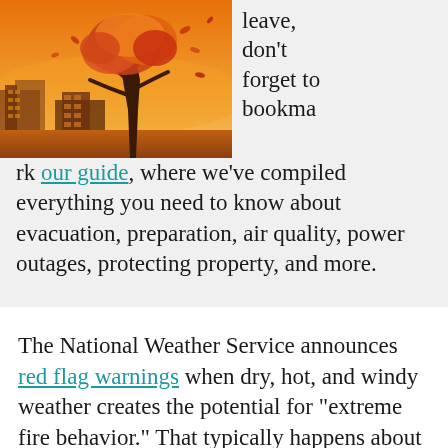[Figure (illustration): Illustrated scene of a city with a large tree in the foreground, orange and red fiery tones, buildings in background, leaves blowing in wind — wildfire themed artwork]
leave, don't forget to bookmark our guide, where we've compiled everything you need to know about evacuation, preparation, air quality, power outages, protecting property, and more.
The National Weather Service announces red flag warnings when dry, hot, and windy weather creates the potential for "extreme fire behavior." That typically happens about 20 to 30 times a year in the East Bay hills and other nearby areas where wildlands butt up against